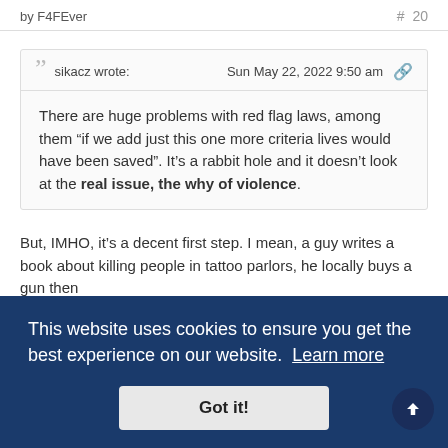by F4FEver
# 20
sikacz wrote:   Sun May 22, 2022 9:50 am
There are huge problems with red flag laws, among them “if we add just this one more criteria lives would have been saved”. It’s a rabbit hole and it doesn’t look at the real issue, the why of violence.
But, IMHO, it’s a decent first step. I mean, a guy writes a book about killing people in tattoo parlors, he locally buys a gun then ... kill ... 0
shooters...depressing.
This website uses cookies to ensure you get the best experience on our website. Learn more
Got it!